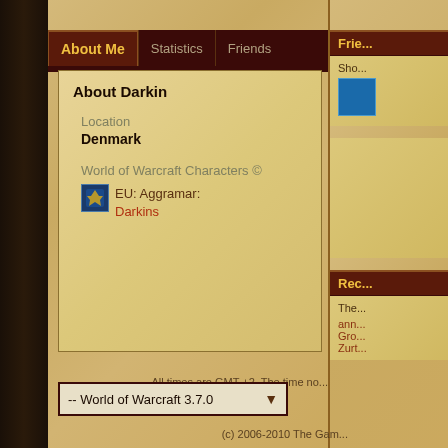About Me | Statistics | Friends
About Darkin
Location
Denmark
World of Warcraft Characters ©
EU: Aggramar: Darkins
Frie...
Sho...
Rec...
The...
ann... Gro... Zurt...
All times are GMT +2. The time no...
-- World of Warcraft 3.7.0
(c) 2006-2010 The Gam...